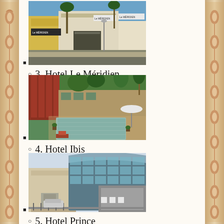[Figure (photo): Exterior photo of Hotel Le Méridien building with signage and palm trees]
3. Hotel Le Méridien
[Figure (photo): Outdoor swimming pool area of Hotel Ibis surrounded by trees and red pillars]
4. Hotel Ibis
[Figure (photo): Exterior of Hotel Prince showing modern glass and concrete building]
5. Hotel Prince